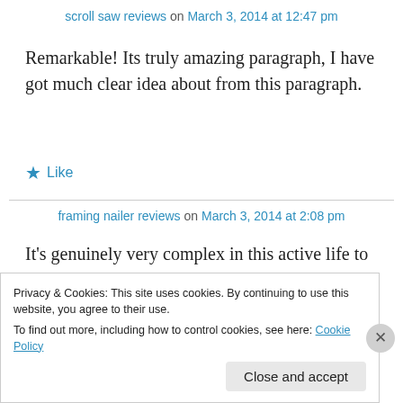scroll saw reviews on March 3, 2014 at 12:47 pm
Remarkable! Its truly amazing paragraph, I have got much clear idea about from this paragraph.
★ Like
framing nailer reviews on March 3, 2014 at 2:08 pm
It's genuinely very complex in this active life to listen news on Television, thus I only use world wide web for that reason, and get the
Privacy & Cookies: This site uses cookies. By continuing to use this website, you agree to their use.
To find out more, including how to control cookies, see here: Cookie Policy
Close and accept